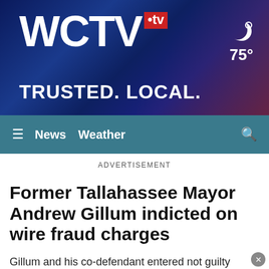[Figure (logo): WCTV.tv logo with red box and tagline TRUSTED. LOCAL. on dark blue gradient background with weather widget showing 75°]
≡  News  Weather  🔍
ADVERTISEMENT
Former Tallahassee Mayor Andrew Gillum indicted on wire fraud charges
Gillum and his co-defendant entered not guilty pleas during their first court appearance Wednesday afternoon.